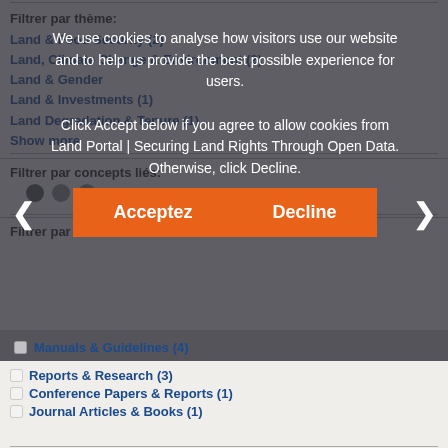Filtrer par thème:
Land & Food Security (2)
Land, Climate Change & Environment (2)
Land & Gender
Land & Investments (1)
Land Degradation & Tenure (1)
Show more
We use cookies to analyse how visitors use our website and to help us provide the best possible experience for users.

Click Accept below if you agree to allow cookies from Land Portal | Securing Land Rights Through Open Data. Otherwise, click Decline.
Filtrer par concepts liés:
Filtrer par
Manuals & Guidelines (4)
Reports & Research (3)
Conference Papers & Reports (1)
Journal Articles & Books (1)
Filtrer par licence de ressource: